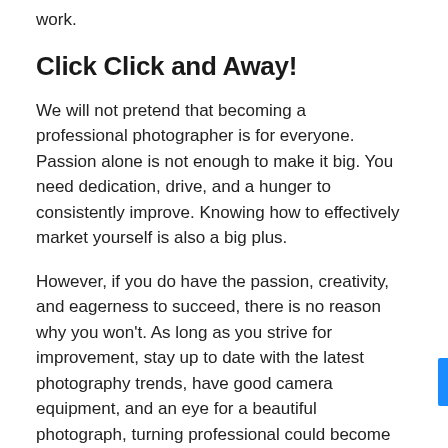work.
Click Click and Away!
We will not pretend that becoming a professional photographer is for everyone. Passion alone is not enough to make it big. You need dedication, drive, and a hunger to consistently improve. Knowing how to effectively market yourself is also a big plus.
However, if you do have the passion, creativity, and eagerness to succeed, there is no reason why you won't. As long as you strive for improvement, stay up to date with the latest photography trends, have good camera equipment, and an eye for a beautiful photograph, turning professional could become the best decision you ever made!